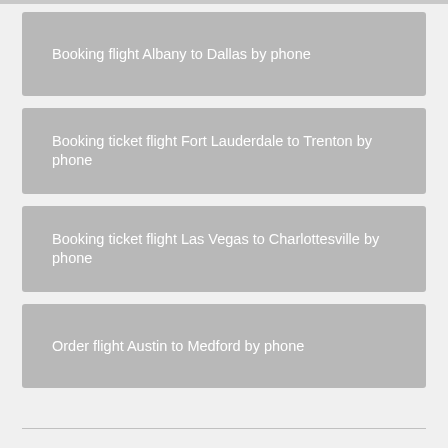Booking flight Albany to Dallas by phone
Booking ticket flight Fort Lauderdale to Trenton by phone
Booking ticket flight Las Vegas to Charlottesville by phone
Order flight Austin to Medford by phone
Change flight Aniak to Charlotte by call
Change flight Great Falls to Lafayette by call
Change flight [partially visible]